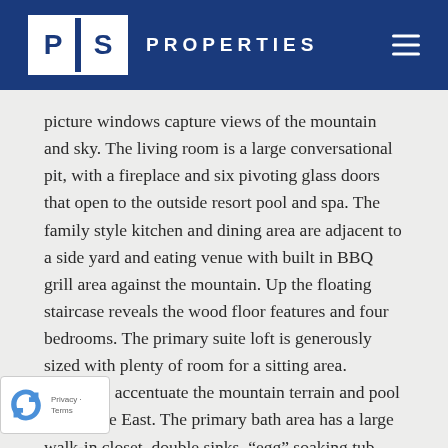PS PROPERTIES
picture windows capture views of the mountain and sky. The living room is a large conversational pit, with a fireplace and six pivoting glass doors that open to the outside resort pool and spa. The family style kitchen and dining area are adjacent to a side yard and eating venue with built in BBQ grill area against the mountain. Up the floating staircase reveals the wood floor features and four bedrooms. The primary suite loft is generously sized with plenty of room for a sitting area. Windows accentuate the mountain terrain and pool area to the East. The primary bath area has a large walk-in closet, double sinks, “egg” soaking tub with